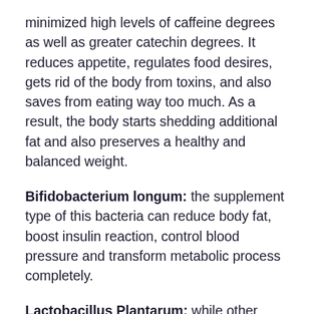minimized high levels of caffeine degrees as well as greater catechin degrees. It reduces appetite, regulates food desires, gets rid of the body from toxins, and also saves from eating way too much. As a result, the body starts shedding additional fat and also preserves a healthy and balanced weight.
Bifidobacterium longum: the supplement type of this bacteria can reduce body fat, boost insulin reaction, control blood pressure and transform metabolic process completely.
Lactobacillus Plantarum: while other LeanBiome ingredients deal with fat burning, this bacterial strain particularly helps obtain the weight back. It regulates blood sugar degrees as well as